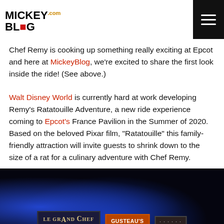MickeyBlog.com
Chef Remy is cooking up something really exciting at Epcot and here at MickeyBlog, we're excited to share the first look inside the ride! (See above.)
Walt Disney World is currently hard at work developing Remy's Ratatouille Adventure, a new ride experience coming to Epcot's France Pavilion in the Summer of 2020. Based on the beloved Pixar film, "Ratatouille" this family-friendly attraction will invite guests to shrink down to the size of a rat for a culinary adventure with Chef Remy.
[Figure (photo): Interior photo of Remy's Ratatouille Adventure ride at Epcot, showing signs for 'Le Grand Chef' and 'Gusteau's' in a darkened, blue-lit environment.]